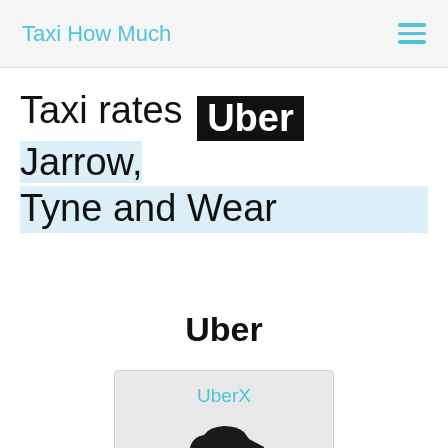Taxi How Much
Taxi rates Uber Jarrow, Tyne and Wear
Uber
UberX